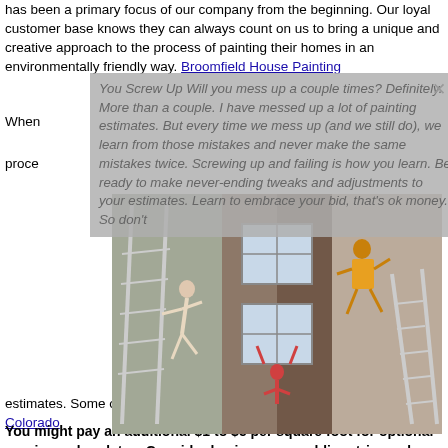has been a primary focus of our company from the beginning. Our loyal customer base knows they can always count on us to bring a unique and creative approach to the process of painting their homes in an environmentally friendly way. Broomfield House Painting
When You Screw Up Will you mess up a couple times? Definitely. More than a couple. I have messed up a lot of painting estimates. But every time we mess up (and we still do), we learn from those mistakes and never make the same mistakes twice. Screwing up and failing is how you learn. Be ready to make never-ending tweaks and adjustments to your estimates. Learn to embrace your bid, that's ok money. So don't
[Figure (photo): Three humorous photos of people falling off ladders while painting or doing home repair work]
In this article, we will help you understand painting estimates. painting in PDF, W painting estimates. Some of these are as follows: House Painting Broomfield Colorado
You might pay an additional $1 to $5 per square foot for optional repairs and updates. Consider having your molding, trim and baseboards checked while you have a